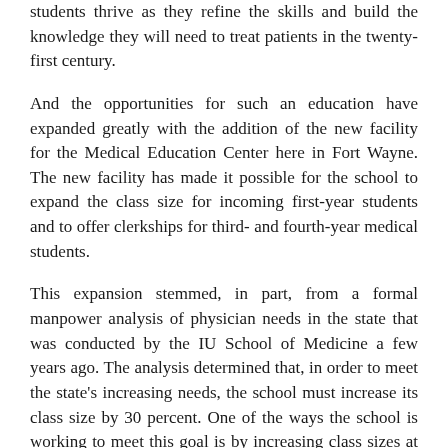students thrive as they refine the skills and build the knowledge they will need to treat patients in the twenty-first century.
And the opportunities for such an education have expanded greatly with the addition of the new facility for the Medical Education Center here in Fort Wayne. The new facility has made it possible for the school to expand the class size for incoming first-year students and to offer clerkships for third- and fourth-year medical students.
This expansion stemmed, in part, from a formal manpower analysis of physician needs in the state that was conducted by the IU School of Medicine a few years ago. The analysis determined that, in order to meet the state's increasing needs, the school must increase its class size by 30 percent. One of the ways the school is working to meet this goal is by increasing class sizes at regional medical education centers, including Fort Wayne.
As you may also know, we are in the middle of a budget session of the General Assembly, and our state appropriations request includes a special request for continued funding for Indiana University's statewide Centers for Medical Education.
We must also continue to increase our efforts to advance research in the life sciences, and the opportunities are many for the citizens of